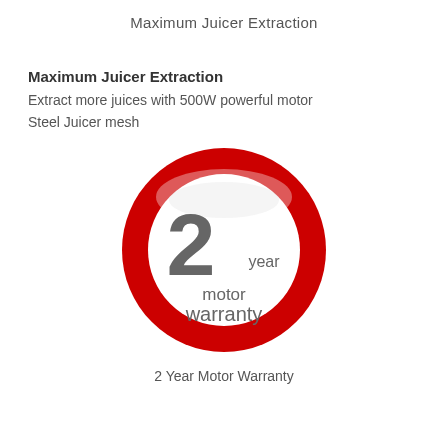Maximum Juicer Extraction
Maximum Juicer Extraction
Extract more juices with 500W powerful motor
Steel Juicer mesh
[Figure (logo): Red circular badge with glossy top highlight, containing large gray number '2' with 'year' text to the right, and 'motor warranty' text below in gray]
2 Year Motor Warranty